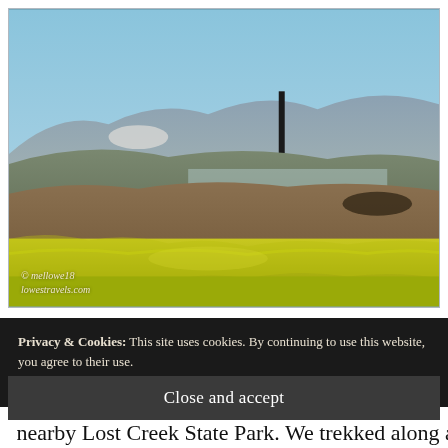[Figure (photo): Landscape photo showing yellow wildflower fields in the foreground, rolling brown hills in the middle ground, blue mountains in the background, and a tall dark tower/chimney structure visible against a pale blue sky. Watermark reads '© mellowe18 lowestravels.com' in the lower left.]
Privacy & Cookies: This site uses cookies. By continuing to use this website, you agree to their use.
To find out more, including how to control cookies, see here: Cookie Policy
Close and accept
nearby Lost Creek State Park. We trekked along a